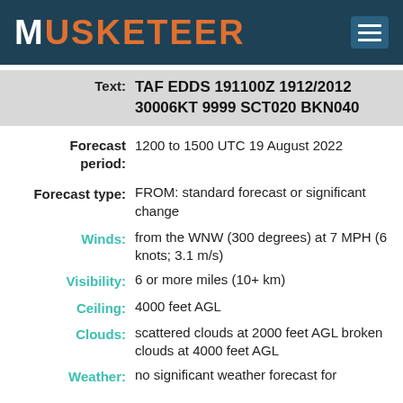MUSKETEER
Text: TAF EDDS 191100Z 1912/2012 30006KT 9999 SCT020 BKN040
Forecast period: 1200 to 1500 UTC 19 August 2022
Forecast type: FROM: standard forecast or significant change
Winds: from the WNW (300 degrees) at 7 MPH (6 knots; 3.1 m/s)
Visibility: 6 or more miles (10+ km)
Ceiling: 4000 feet AGL
Clouds: scattered clouds at 2000 feet AGL broken clouds at 4000 feet AGL
Weather: no significant weather forecast for